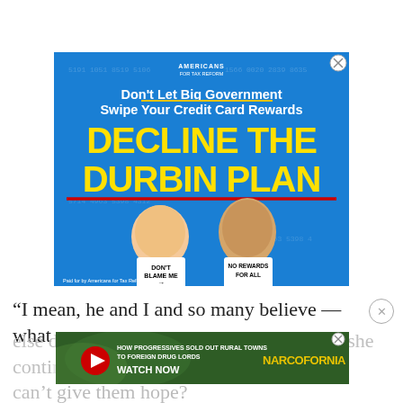[Figure (infographic): Political advertisement: 'Don't Let Big Government Swipe Your Credit Card Rewards — DECLINE THE DURBIN PLAN' with caricature figures of Biden and Durbin wearing shirts reading 'DON'T BLAME ME' and 'NO REWARDS FOR ALL'. Blue background. Paid for by Americans for Tax Reform.]
“I mean, he and I and so many believe — what
else do you have if you don’t have hope,” she continued. … you can’t give them hope?
[Figure (infographic): Advertisement: 'HOW PROGRESSIVES SOLD OUT RURAL TOWNS TO FOREIGN DRUG LORDS' with NARCOFORNIA branding and WATCH NOW button.]